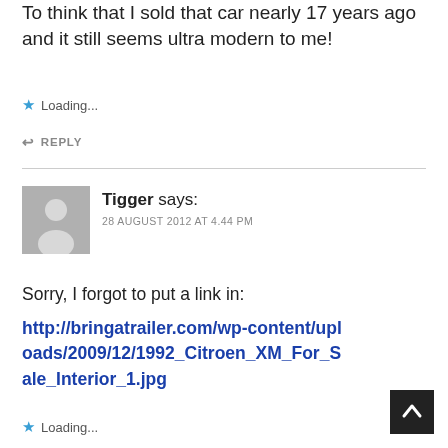To think that I sold that car nearly 17 years ago and it still seems ultra modern to me!
Loading...
REPLY
Tigger says:
28 AUGUST 2012 AT 4.44 PM
Sorry, I forgot to put a link in:
http://bringatrailer.com/wp-content/uploads/2009/12/1992_Citroen_XM_For_Sale_Interior_1.jpg
Loading...